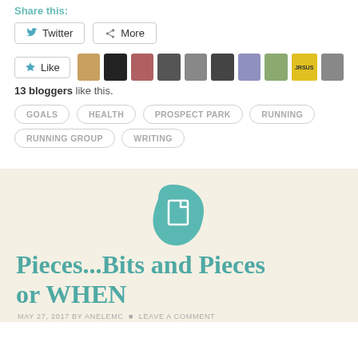Share this:
Twitter  More
[Figure (other): Like button with 13 blogger avatars shown]
13 bloggers like this.
GOALS
HEALTH
PROSPECT PARK
RUNNING
RUNNING GROUP
WRITING
[Figure (illustration): Teal document/page icon on beige background]
Pieces...Bits and Pieces or WHEN
MAY 27, 2017 BY ANELEMC • LEAVE A COMMENT